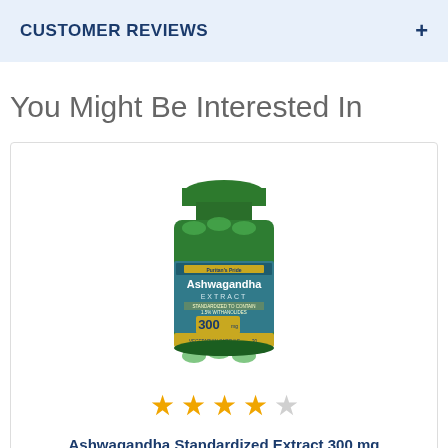CUSTOMER REVIEWS
You Might Be Interested In
[Figure (photo): Green bottle of Puritan's Pride Ashwagandha Standardized Extract 300mg supplement with green capsules visible, yellow/gold label accent]
★★★★☆ (4 out of 5 stars rating)
Ashwagandha Standardized Extract 300 mg